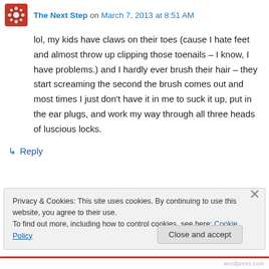The Next Step on March 7, 2013 at 8:51 AM
lol, my kids have claws on their toes (cause I hate feet and almost throw up clipping those toenails – I know, I have problems.) and I hardly ever brush their hair – they start screaming the second the brush comes out and most times I just don't have it in me to suck it up, put in the ear plugs, and work my way through all three heads of luscious locks.
↳ Reply
Privacy & Cookies: This site uses cookies. By continuing to use this website, you agree to their use.
To find out more, including how to control cookies, see here: Cookie Policy